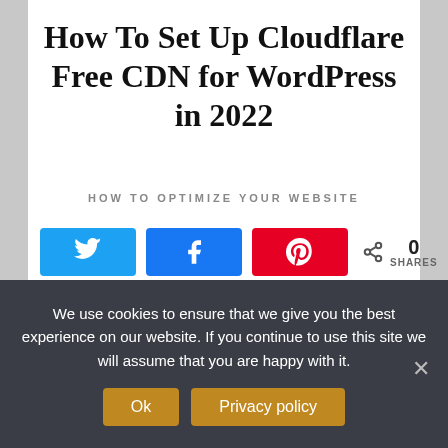How To Set Up Cloudflare Free CDN for WordPress in 2022
HOW TO OPTIMIZE YOUR WEBSITE
[Figure (infographic): Social share buttons: Twitter (blue), Facebook (dark blue), Pinterest (red), and a share count showing 0 SHARES]
Hello and welcome. In the following guide, I will give you an example of how to set up Cloudflare
We use cookies to ensure that we give you the best experience on our website. If you continue to use this site we will assume that you are happy with it.